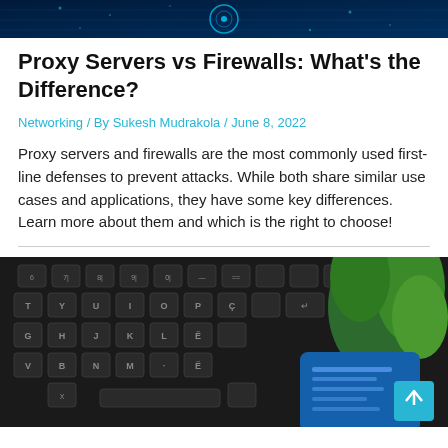[Figure (photo): Dark blue tech/circuit board header image with glowing circular pattern]
Proxy Servers vs Firewalls: What's the Difference?
Networking / By Sukesh Mudrakola / June 8, 2022
Proxy servers and firewalls are the most commonly used first-line defenses to prevent attacks. While both share similar use cases and applications, they have some key differences. Learn more about them and which is the right to choose!
[Figure (photo): Photo of a dark laptop keyboard with a blue smartphone and a green plant in the background]